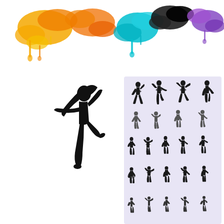[Figure (illustration): Colorful paint splatter / graffiti splash artwork at the top of the page in yellow, orange, cyan/teal, black, and purple colors]
[Figure (illustration): Large black silhouette of a female dancer jumping with arms and legs extended dynamically, on white background, left-center area]
[Figure (illustration): Grid of small black ballet dancer silhouettes in various poses (jumps, arabesques, standing poses) on a light lavender/white background, right-center area]
[Figure (illustration): Black background with multiple white silhouettes of dancers in energetic hip-hop/freestyle poses, bottom panel spanning full width]